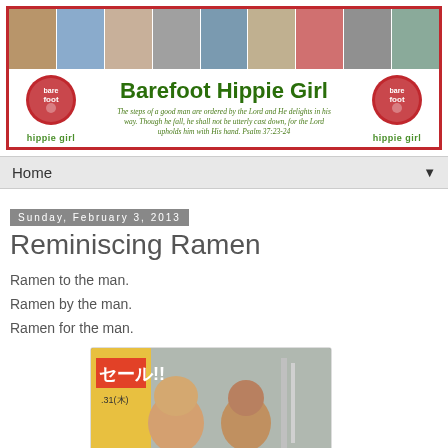[Figure (photo): Blog header banner with photo strip, two circular logos, blog title 'Barefoot Hippie Girl', and a scripture verse]
Home
Sunday, February 3, 2013
Reminiscing Ramen
Ramen to the man.
Ramen by the man.
Ramen for the man.
[Figure (photo): Photo of two men smiling on what appears to be a Japanese train or bus, with Japanese text/signage visible in the background]